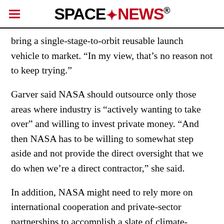SPACENEWS
bring a single-stage-to-orbit reusable launch vehicle to market. “In my view, that’s no reason not to keep trying.”
Garver said NASA should outsource only those areas where industry is “actively wanting to take over” and willing to invest private money. “And then NASA has to be willing to somewhat step aside and not provide the direct oversight that we do when we’re a direct contractor,” she said.
In addition, NASA might need to rely more on international cooperation and private-sector partnerships to accomplish a slate of climate-monitoring missions that look to be more expensive than estimated by the National Academy of Sciences.